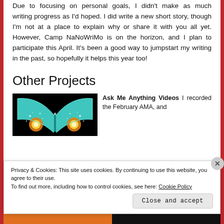Due to focusing on personal goals, I didn't make as much writing progress as I'd hoped. I did write a new short story, though I'm not at a place to explain why or share it with you all yet. However, Camp NaNoWriMo is on the horizon, and I plan to participate this April. It's been a good way to jumpstart my writing in the past, so hopefully it helps this year too!
Other Projects
[Figure (illustration): Book cover or graphic showing an open teal/cyan book with two glowing golden orbs of light on a black background]
Ask Me Anything Videos I recorded the February AMA, and
Privacy & Cookies: This site uses cookies. By continuing to use this website, you agree to their use.
To find out more, including how to control cookies, see here: Cookie Policy
Close and accept